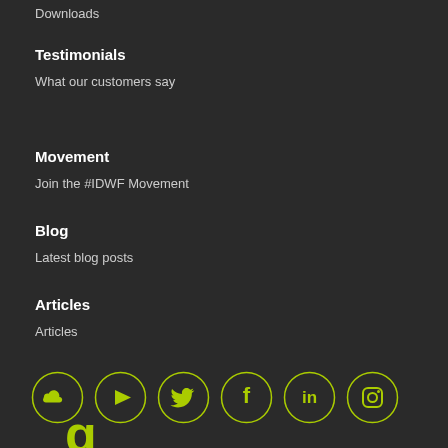Downloads
Testimonials
What our customers say
Movement
Join the #IDWF Movement
Blog
Latest blog posts
Articles
Articles
[Figure (illustration): Six social media icons in lime green outlined circles: SoundCloud, YouTube, Twitter, Facebook, LinkedIn, Instagram]
[Figure (logo): Partial lime green letter g logo at bottom]